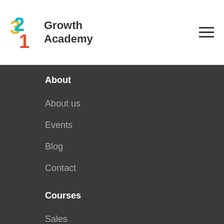[Figure (logo): 321 Growth Academy logo with colorful stylized numbers and text]
About
About us
Events
Blog
Contact
Courses
Sales
Marketing